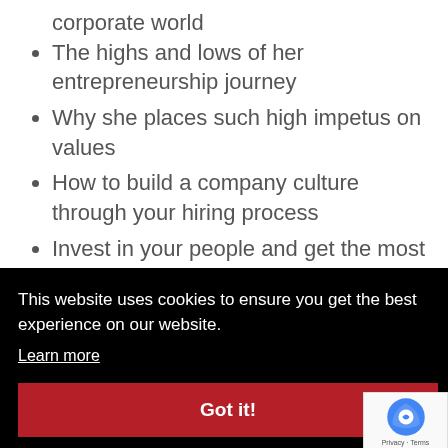corporate world
The highs and lows of her entrepreneurship journey
Why she places such high impetus on values
How to build a company culture through your hiring process
Invest in your people and get the most out of them whilst they work for
This website uses cookies to ensure you get the best experience on our website.
Learn more
Got it!
to full